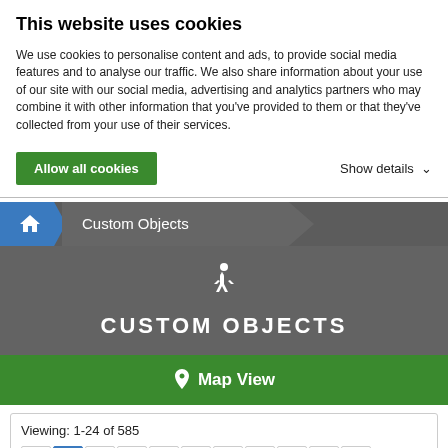This website uses cookies
We use cookies to personalise content and ads, to provide social media features and to analyse our traffic. We also share information about your use of our site with our social media, advertising and analytics partners who may combine it with other information that you've provided to them or that they've collected from your use of their services.
Allow all cookies
Show details
[Figure (screenshot): Navigation breadcrumb with home icon and 'Custom Objects' label]
[Figure (screenshot): Dark grey hero banner with walking person icon and 'CUSTOM OBJECTS' title, and green 'Map View' button below]
Viewing: 1-24 of 585
Pagination: previous, 1 (active), 2, 3, 4, 5, 6, 7, ..., 25, next